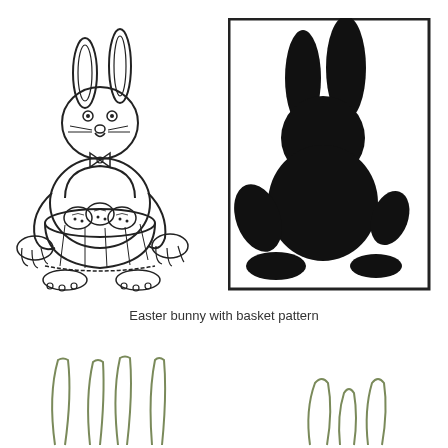[Figure (illustration): Line art illustration of an Easter bunny holding a basket full of decorated Easter eggs, with bow tie, sitting with paws visible at sides and bottom.]
[Figure (illustration): Black silhouette of an Easter bunny sitting with a basket, shown inside a square border. The bunny is entirely filled black.]
Easter bunny with basket pattern
[Figure (illustration): Partial illustration at the bottom of the page showing bunny ears outlines in green/gray tones — left side shows two pairs of tall pointed ears, right side shows a shorter rounded pair.]